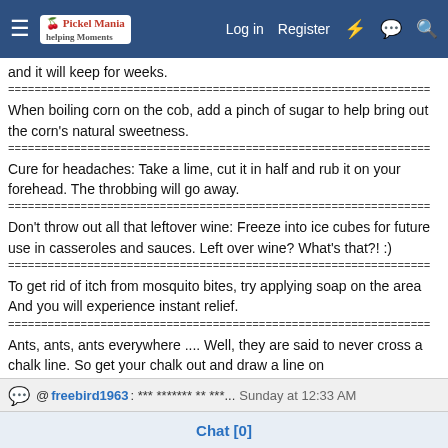Navigation bar: hamburger menu, Pickel Mania logo, Log in, Register, lightning icon, chat icon, search icon
and it will keep for weeks.
When boiling corn on the cob, add a pinch of sugar to help bring out the corn's natural sweetness.
Cure for headaches: Take a lime, cut it in half and rub it on your forehead. The throbbing will go away.
Don't throw out all that leftover wine: Freeze into ice cubes for future use in casseroles and sauces. Left over wine? What's that?! :)
To get rid of itch from mosquito bites, try applying soap on the area And you will experience instant relief.
Ants, ants, ants everywhere .... Well, they are said to never cross a chalk line. So get your chalk out and draw a line on
@ freebird1963: *** ******* ** ***... Sunday at 12:33 AM
Chat [0]